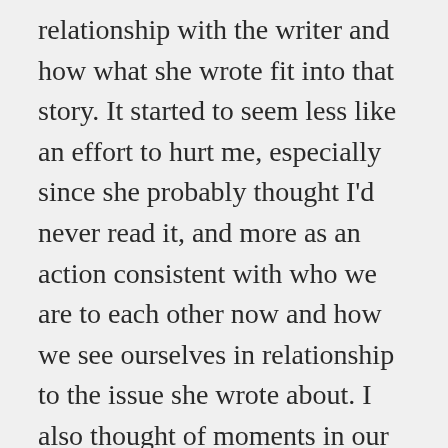relationship with the writer and how what she wrote fit into that story. It started to seem less like an effort to hurt me, especially since she probably thought I'd never read it, and more as an action consistent with who we are to each other now and how we see ourselves in relationship to the issue she wrote about. I also thought of moments in our relationship where she might have interpreted my behavior as hurtful. None of that took away my initial response to her writing but it created a calm space in which I live with it.
The next day at yoga the instructor (a fabulous substitute), asked us to start by running our hands over our arms and legs and torso sloughing off any negative feelings, anything